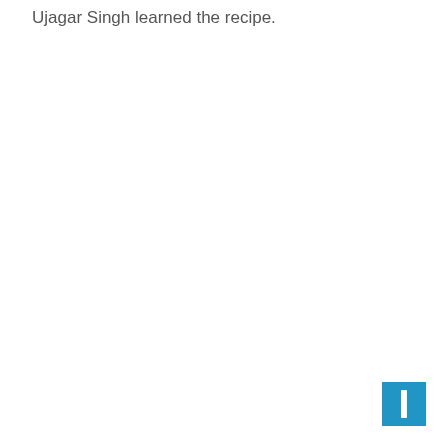Ujagar Singh learned the recipe.
[Figure (other): Blue navigation button with a white vertical bar/bookmark icon in the bottom-right corner]